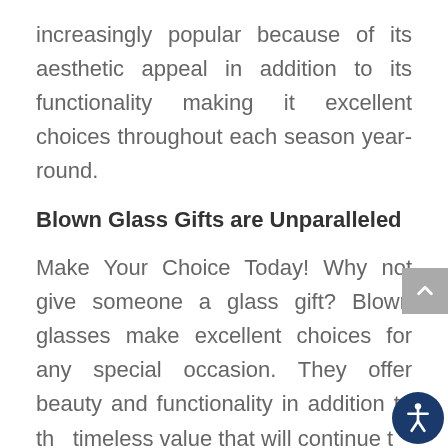increasingly popular because of its aesthetic appeal in addition to its functionality making it excellent choices throughout each season year-round.
Blown Glass Gifts are Unparalleled
Make Your Choice Today! Why not give someone a glass gift? Blown glasses make excellent choices for any special occasion. They offer beauty and functionality in addition to the timeless value that will continue to